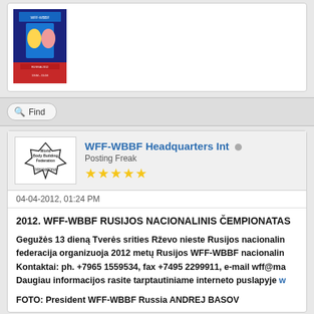[Figure (photo): Event poster for WFF-WBBF competition showing bodybuilders]
Find
[Figure (logo): WFF World Body Building Federation International logo]
WFF-WBBF Headquarters Int
Posting Freak
04-04-2012, 01:24 PM
2012. WFF-WBBF RUSIJOS NACIONALINIS ČEMPIONATAS
Gegužės 13 dieną Tverės srities Rževo nieste Rusijos nacionalin... federacija organizuoja 2012 metų Rusijos WFF-WBBF nacionalin... Kontaktai: ph. +7965 1559534, fax +7495 2299911, e-mail wff@ma... Daugiau informacijos rasite tarptautiniame interneto puslapyje w...
FOTO: President WFF-WBBF Russia ANDREJ BASOV